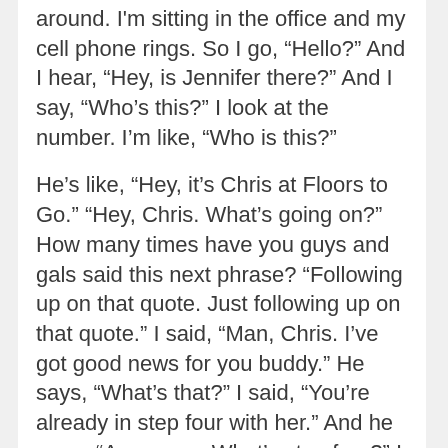around. I'm sitting in the office and my cell phone rings. So I go, “Hello?” And I hear, “Hey, is Jennifer there?” And I say, “Who’s this?” I look at the number. I’m like, “Who is this?”
He’s like, “Hey, it’s Chris at Floors to Go.” “Hey, Chris. What’s going on?” How many times have you guys and gals said this next phrase? “Following up on that quote. Just following up on that quote.” I said, “Man, Chris. I’ve got good news for you buddy.” He says, “What’s that?” I said, “You’re already in step four with her.” And he goes, “Awesome. What’s step four?” I said, “She’s hiding from you.”
I said it was a joke? You know, you can hear...